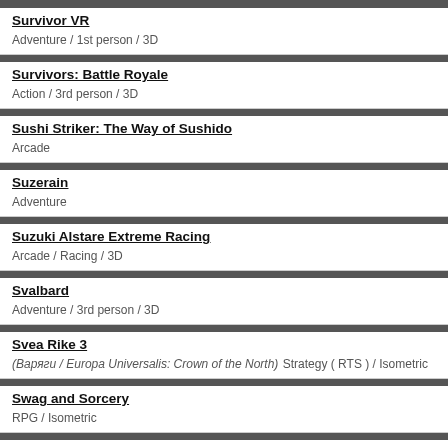Survivor VR
Adventure / 1st person / 3D
Survivors: Battle Royale
Action / 3rd person / 3D
Sushi Striker: The Way of Sushido
Arcade
Suzerain
Adventure
Suzuki Alstare Extreme Racing
Arcade / Racing / 3D
Svalbard
Adventure / 3rd person / 3D
Svea Rike 3
(Варяги / Europa Universalis: Crown of the North)
Strategy ( RTS ) / Isometric
Swag and Sorcery
RPG / Isometric
Swapper, The
Arcade / 3D
Swaps and Traps
Arcade